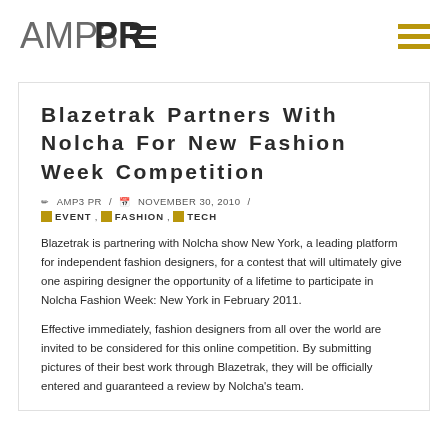[Figure (logo): AMP3PR logo with stylized text]
Blazetrak Partners With Nolcha For New Fashion Week Competition
✏ AMP3 PR / 📅 NOVEMBER 30, 2010 /
EVENT, FASHION, TECH
Blazetrak is partnering with Nolcha show New York, a leading platform for independent fashion designers, for a contest that will ultimately give one aspiring designer the opportunity of a lifetime to participate in Nolcha Fashion Week: New York in February 2011.
Effective immediately, fashion designers from all over the world are invited to be considered for this online competition. By submitting pictures of their best work through Blazetrak, they will be officially entered and guaranteed a review by Nolcha's team.